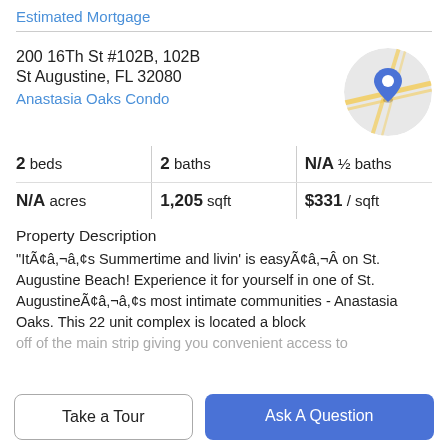Estimated Mortgage
200 16Th St #102B, 102B
St Augustine, FL 32080
Anastasia Oaks Condo
[Figure (map): Circular map thumbnail showing street map with blue location pin marker]
| Stat | Value |
| --- | --- |
| 2 beds | 2 baths | N/A ½ baths |
| N/A acres | 1,205 sqft | $331 / sqft |
Property Description
"ItÃ¢â,¬â,¢s Summertime and livin' is easyÃ¢â,¬Â on St. Augustine Beach! Experience it for yourself in one of St. AugustineÃ¢â,¬â,¢s most intimate communities - Anastasia Oaks. This 22 unit complex is located a block
off of the main strip giving you convenient access to
Take a Tour
Ask A Question